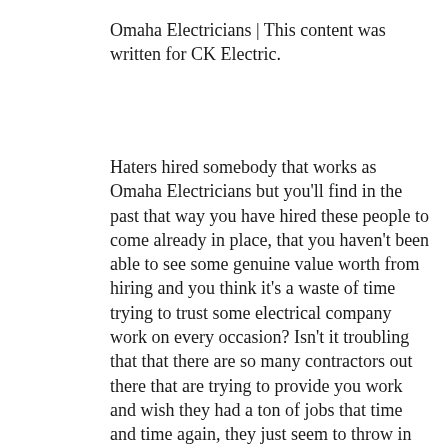Omaha Electricians | This content was written for CK Electric.
Haters hired somebody that works as Omaha Electricians but you'll find in the past that way you have hired these people to come already in place, that you haven't been able to see some genuine value worth from hiring and you think it's a waste of time trying to trust some electrical company work on every occasion? Isn't it troubling that that there are so many contractors out there that are trying to provide you work and wish they had a ton of jobs that time and time again, they just seem to throw in the towel on being able to actually give you genuine value and customer service on a consistent level as Omaha Electricians? Which company do you actually do this kind of great worth and save you money on the long haul by actually giving you the right value and service work as Omaha Electricians that you expect and hope